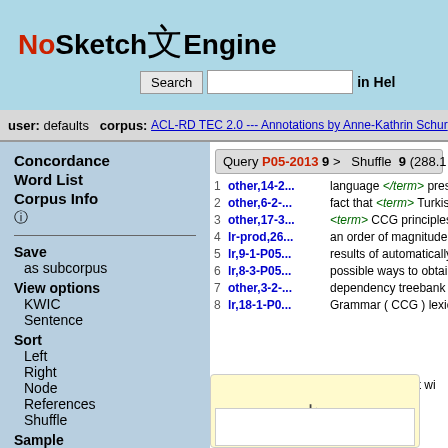NoSketch Engine — Search bar, user: defaults, corpus: ACL-RD TEC 2.0 --- Annotations by Anne-Kathrin Schun
user: defaults   corpus: ACL-RD TEC 2.0 --- Annotations by Anne-Kathrin Schun
Concordance
Word List
Corpus Info
Save as subcorpus
View options KWIC Sentence
Sort Left Right Node References Shuffle
Sample
Query P05-2013 9 > Shuffle 9 (288.1 per million)
1 other,14-2... language </term> presents a challenge f
2 other,6-2-... fact that <term> Turkish </term> is a
3 other,17-3... <term> CCG principles </term> , from
4 lr-prod,26... an order of magnitude smaller tha
5 lr,9-1-P05... results of automatically inducing
6 lr,8-3-P05... possible ways to obtain a compa
7 other,3-2-... dependency treebank </term> . The fact th
8 lr,18-1-P0... Grammar ( CCG ) lexicon </term> from
Computing (en-3.56.8) | hrvatski